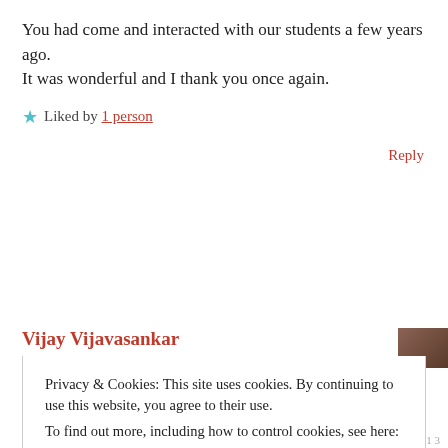You had come and interacted with our students a few years ago.
It was wonderful and I thank you once again.
★ Liked by 1 person
Reply
Vijay Vijavasankar
Privacy & Cookies: This site uses cookies. By continuing to use this website, you agree to their use.
To find out more, including how to control cookies, see here:
Cookie Policy
Close and accept